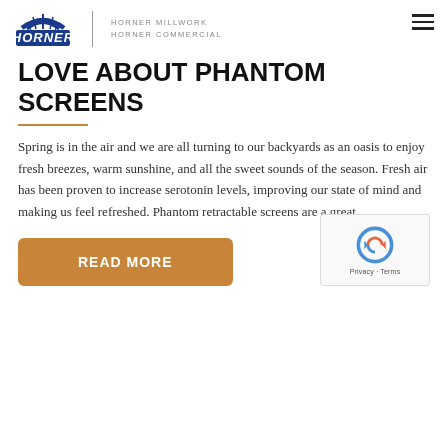HORNER | HORNER MILLWORK HORNER COMMERCIAL
LOVE ABOUT PHANTOM SCREENS
Spring is in the air and we are all turning to our backyards as an oasis to enjoy fresh breezes, warm sunshine, and all the sweet sounds of the season. Fresh air has been proven to increase serotonin levels, improving our state of mind and making us feel refreshed. Phantom retractable screens are a great
READ MORE